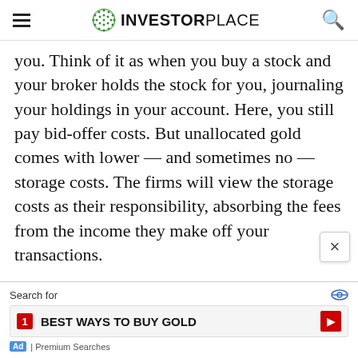INVESTORPLACE
you. Think of it as when you buy a stock and your broker holds the stock for you, journaling your holdings in your account. Here, you still pay bid-offer costs. But unallocated gold comes with lower — and sometimes no — storage costs. The firms will view the storage costs as their responsibility, absorbing the fees from the income they make off your transactions.
One of my long-time friends and former business partner from my banking days is Chris Gaffney. He is the president of world markets at TIAA Federal Savings Bank, which is part of the massive non-profit financial
[Figure (other): Advertisement banner: Search for BEST WAYS TO BUY GOLD]
[Figure (other): Close/dismiss X button overlay on the right side of the ad]